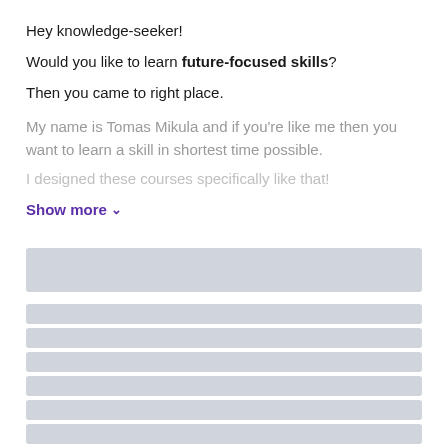Hey knowledge-seeker!
Would you like to learn future-focused skills?
Then you came to right place.
My name is Tomas Mikula and if you're like me then you want to learn a skill in shortest time possible.
I designed these courses specifically like that!
Show more ∨
[Figure (other): Loading skeleton placeholders — gray rounded rectangles representing content loading state]